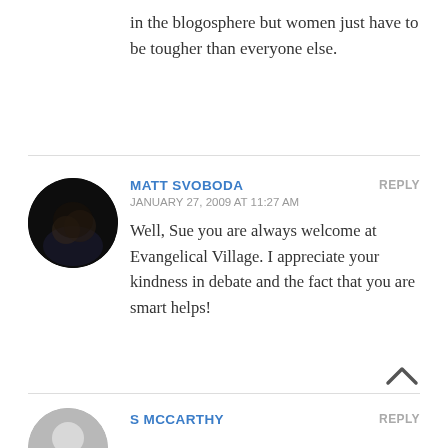in the blogosphere but women just have to be tougher than everyone else.
MATT SVOBODA
JANUARY 27, 2009 AT 11:27 AM
Well, Sue you are always welcome at Evangelical Village. I appreciate your kindness in debate and the fact that you are smart helps!
S MCCARTHY